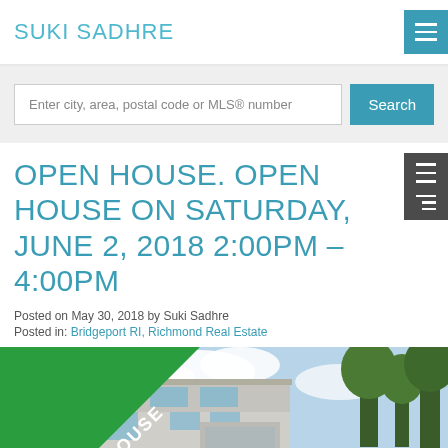SUKI SADHRE
Enter city, area, postal code or MLS® number
OPEN HOUSE. OPEN HOUSE ON SATURDAY, JUNE 2, 2018 2:00PM - 4:00PM
Posted on May 30, 2018 by Suki Sadhre
Posted in: Bridgeport RI, Richmond Real Estate
[Figure (photo): Exterior photo of a house with an 'OPEN HOUSE' diagonal green banner overlay in the top-left corner. Sky, trees and modern home visible.]